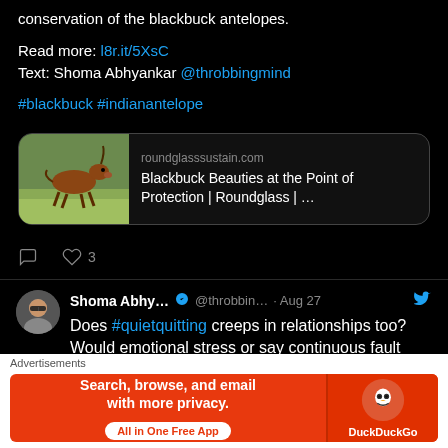conservation of the blackbuck antelopes.
Read more: l8r.it/5XsC
Text: Shoma Abhyankar @throbbingmind
#blackbuck #indianantelope
[Figure (screenshot): Link card showing blackbuck running image with roundglasssustain.com and title 'Blackbuck Beauties at the Point of Protection | Roundglass | ...']
♡ 3
Shoma Abhy... ✓ @throbbin... · Aug 27
Does #quietquitting creeps in relationships too? Would emotional stress or say continuous fault finding make you put in less effort in day to day li...
Advertisements
[Figure (infographic): DuckDuckGo advertisement banner: 'Search, browse, and email with more privacy. All in One Free App' with DuckDuckGo logo]